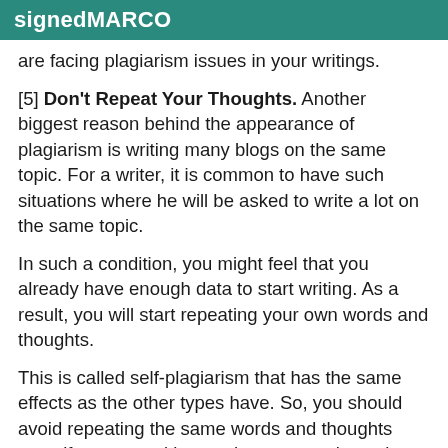signedMARCO
are facing plagiarism issues in your writings.
[5] Don't Repeat Your Thoughts. Another biggest reason behind the appearance of plagiarism is writing many blogs on the same topic. For a writer, it is common to have such situations where he will be asked to write a lot on the same topic.
In such a condition, you might feel that you already have enough data to start writing. As a result, you will start repeating your own words and thoughts.
This is called self-plagiarism that has the same effects as the other types have. So, you should avoid repeating the same words and thoughts even if you are writing on the same topic again.